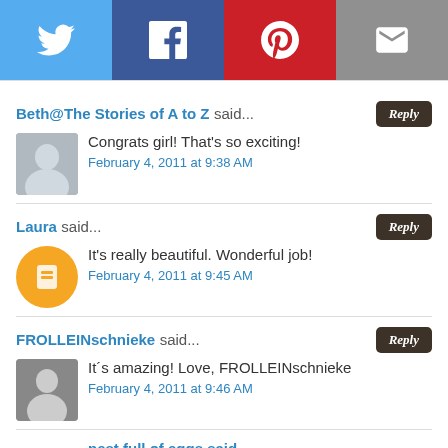[Figure (screenshot): Social share buttons bar with Twitter (blue), Facebook (dark blue), Pinterest (red), and Email (gray) icons]
Beth@The Stories of A to Z said... Congrats girl! That's so exciting! February 4, 2011 at 9:38 AM
Laura said... It's really beautiful. Wonderful job! February 4, 2011 at 9:45 AM
FROLLEINschnieke said... It´s amazing! Love, FROLLEINschnieke February 4, 2011 at 9:46 AM
nest full of eggs said...